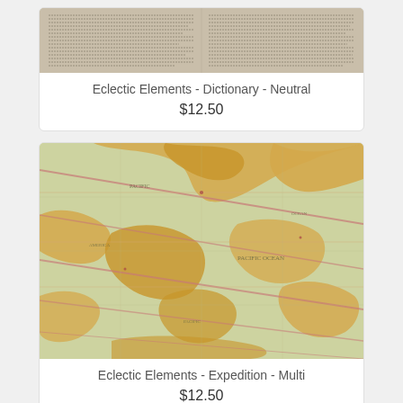[Figure (photo): Fabric swatch showing dictionary/newsprint text pattern in neutral/beige tones]
Eclectic Elements - Dictionary - Neutral
$12.50
[Figure (photo): Fabric swatch showing vintage world map pattern in multi-color (yellows, greens, pinks/reds)]
Eclectic Elements - Expedition - Multi
$12.50